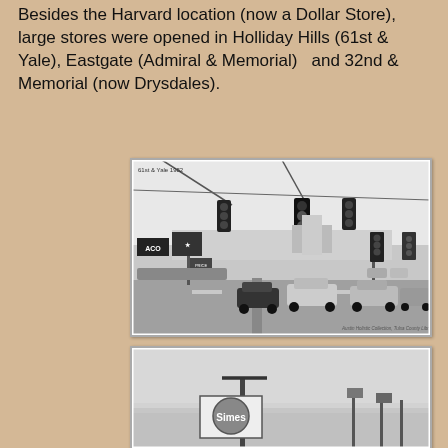Besides the Harvard location (now a Dollar Store), large stores were opened in Holliday Hills (61st & Yale), Eastgate (Admiral & Memorial)  and 32nd & Memorial (now Drysdales).
[Figure (photo): Black and white photograph of a busy intersection with traffic lights hanging over the road, cars from the 1970s-1980s era, a Texaco gas station sign visible, and trees in the background. Label reads '61st & Yale  1982'. Caption: Austin Holistic Collection, Tulsa County Library.]
[Figure (photo): Black and white photograph showing a Simes store sign on a pole against a light sky, with additional signage and utility poles in the distance.]